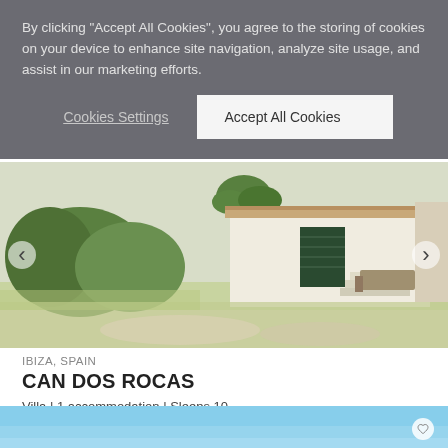By clicking "Accept All Cookies", you agree to the storing of cookies on your device to enhance site navigation, analyze site usage, and assist in our marketing efforts.
Cookies Settings
Accept All Cookies
[Figure (photo): Exterior photo of a white Mediterranean villa with lush green garden, palm trees, and outdoor seating area on a sunny day]
IBIZA, SPAIN
CAN DOS ROCAS
Villa | 1 accommodation | Sleeps 10
From €1786 / Night
[Figure (photo): Partial view of another property listing image showing blue sky]